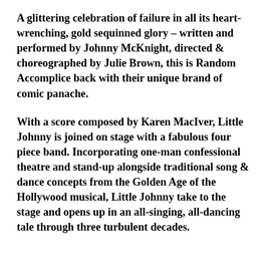A glittering celebration of failure in all its heart-wrenching, gold sequinned glory – written and performed by Johnny McKnight, directed & choreographed by Julie Brown, this is Random Accomplice back with their unique brand of comic panache.
With a score composed by Karen MacIver, Little Johnny is joined on stage with a fabulous four piece band. Incorporating one-man confessional theatre and stand-up alongside traditional song & dance concepts from the Golden Age of the Hollywood musical, Little Johnny take to the stage and opens up in an all-singing, all-dancing tale through three turbulent decades.